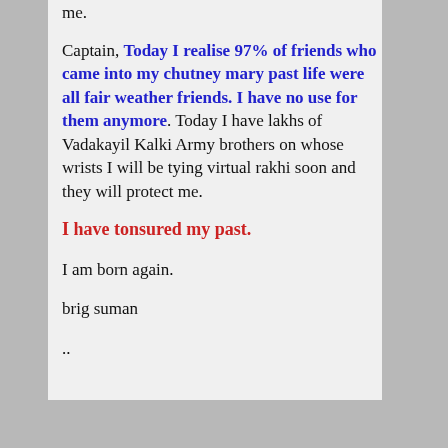me.
Captain, Today I realise 97% of friends who came into my chutney mary past life were all fair weather friends. I have no use for them anymore. Today I have lakhs of Vadakayil Kalki Army brothers on whose wrists I will be tying virtual rakhi soon and they will protect me.
I have tonsured my past.
I am born again.
brig suman
..